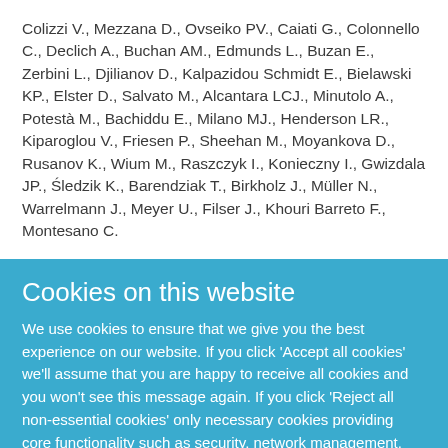Colizzi V., Mezzana D., Ovseiko PV., Caiati G., Colonnello C., Declich A., Buchan AM., Edmunds L., Buzan E., Zerbini L., Djilianov D., Kalpazidou Schmidt E., Bielawski KP., Elster D., Salvato M., Alcantara LCJ., Minutolo A., Potestà M., Bachiddu E., Milano MJ., Henderson LR., Kiparoglou V., Friesen P., Sheehan M., Moyankova D., Rusanov K., Wium M., Raszczyk I., Konieczny I., Gwizdala JP., Śledzik K., Barendziak T., Birkholz J., Müller N., Warrelmann J., Meyer U., Filser J., Khouri Barreto F., Montesano C.
Cookies on this website
We use cookies to ensure that we give you the best experience on our website. If you click 'Accept all cookies' we'll assume that you are happy to receive all cookies and you won't see this message again. If you click 'Reject all non-essential cookies' only necessary cookies providing core functionality such as security, network management,